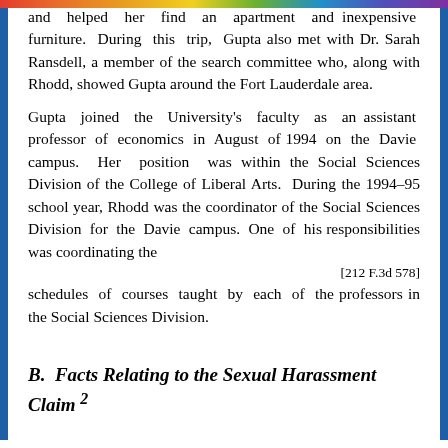and helped her find an apartment and inexpensive furniture. During this trip, Gupta also met with Dr. Sarah Ransdell, a member of the search committee who, along with Rhodd, showed Gupta around the Fort Lauderdale area.
Gupta joined the University's faculty as an assistant professor of economics in August of 1994 on the Davie campus. Her position was within the Social Sciences Division of the College of Liberal Arts. During the 1994-95 school year, Rhodd was the coordinator of the Social Sciences Division for the Davie campus. One of his responsibilities was coordinating the
[212 F.3d 578]
schedules of courses taught by each of the professors in the Social Sciences Division.
B.  Facts Relating to the Sexual Harassment Claim 2